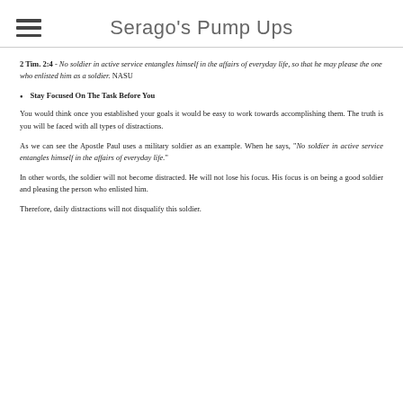Serago's Pump Ups
2 Tim. 2:4 - No soldier in active service entangles himself in the affairs of everyday life, so that he may please the one who enlisted him as a soldier. NASU
Stay Focused On The Task Before You
You would think once you established your goals it would be easy to work towards accomplishing them. The truth is you will be faced with all types of distractions.
As we can see the Apostle Paul uses a military soldier as an example. When he says, "No soldier in active service entangles himself in the affairs of everyday life."
In other words, the soldier will not become distracted. He will not lose his focus. His focus is on being a good soldier and pleasing the person who enlisted him.
Therefore, daily distractions will not disqualify this soldier.